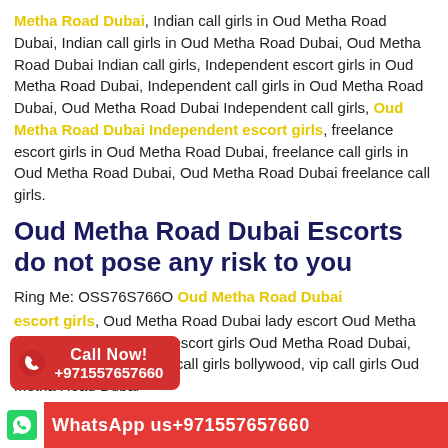Metha Road Dubai, Indian call girls in Oud Metha Road Dubai, Indian call girls in Oud Metha Road Dubai, Oud Metha Road Dubai Indian call girls, Independent escort girls in Oud Metha Road Dubai, Independent call girls in Oud Metha Road Dubai, Oud Metha Road Dubai Independent call girls, Oud Metha Road Dubai Independent escort girls, freelance escort girls in Oud Metha Road Dubai, freelance call girls in Oud Metha Road Dubai, Oud Metha Road Dubai freelance call girls.
Oud Metha Road Dubai Escorts do not pose any risk to you
Ring Me: OSS76S766O Oud Metha Road Dubai escort girls, Oud Metha Road Dubai lady escort, Oud Metha Road Dubai, bollywood escort girls Oud Metha Road Dubai, Oud Metha Road Dubai call girls bollywood, vip call girls Oud Metha Road Dubai escort girls, hi profile escort girls Oud Metha Road Dubai
[Figure (infographic): Red call now button with phone icon and number +971557657660]
[Figure (infographic): Red WhatsApp bar at bottom with WhatsApp icon and text: WhatsApp us+971557657660]